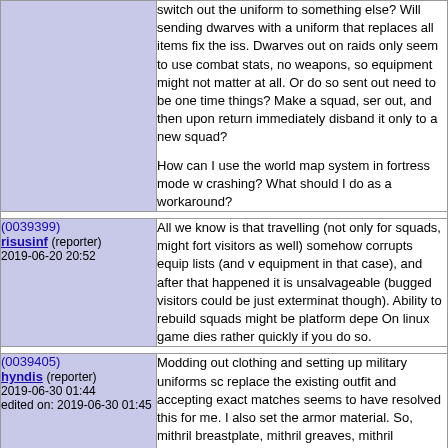switch out the uniform to something else? Will sending dwarves with a uniform that replaces all items fix the iss. Dwarves out on raids only seem to use combat stats, no weapons, so equipment might not matter at all. Or do so sent out need to be one time things? Make a squad, sen out, and then upon return immediately disband it only to a new squad?

How can I use the world map system in fortress mode w crashing? What should I do as a workaround?
(0039399)
risusinf (reporter)
2019-06-20 20:52
All we know is that travelling (not only for squads, might fort visitors as well) somehow corrupts equip lists (and v equipment in that case), and after that happened it is unsalvageable (bugged visitors could be just exterminat though). Ability to rebuild squads might be platform depe On linux game dies rather quickly if you do so.
(0039405)
hyndis (reporter)
2019-06-30 01:44
edited on: 2019-06-30 01:45
Modding out clothing and setting up military uniforms sc replace the existing outfit and accepting exact matches seems to have resolved this for me. I also set the armor material. So, mithril breastplate, mithril greaves, mithril gauntlets, etc.

I suppose this might also be because I added a new me the game; mithril. Only dwarves can make this metal. Th means that all mithril helms are all exactly the same size large or small mithril helms will ever be generated. Ther by specifying mithril helm in the uniform screen there wi be an unwearable helm that a dwarf tries to equip.